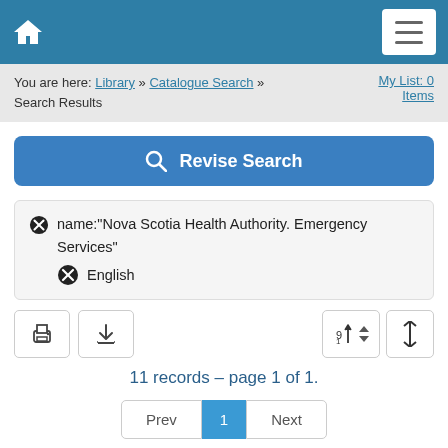Home | Menu
You are here: Library » Catalogue Search » Search Results    My List: 0 Items
Revise Search
name:"Nova Scotia Health Authority. Emergency Services"
  English
11 records – page 1 of 1.
Prev  1  Next